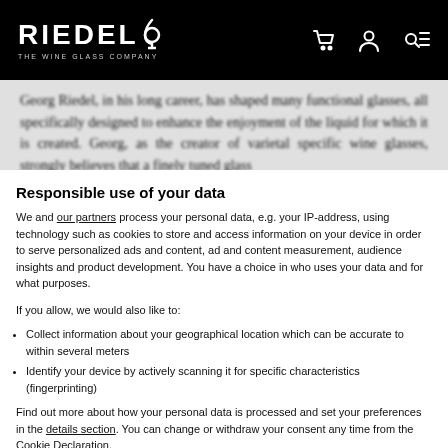RIEDEL THE WINE GLASS COMPANY
Georg Riedel, in his long career, has shaped many functional glasses, all specifically designed to enhance the enjoyment of the liquid for which it is created. Georg, as the creator of varietal specific wine glasses, strongly believes that a finely tuned glass
Responsible use of your data
We and our partners process your personal data, e.g. your IP-address, using technology such as cookies to store and access information on your device in order to serve personalized ads and content, ad and content measurement, audience insights and product development. You have a choice in who uses your data and for what purposes.
If you allow, we would also like to:
Collect information about your geographical location which can be accurate to within several meters
Identify your device by actively scanning it for specific characteristics (fingerprinting)
Find out more about how your personal data is processed and set your preferences in the details section. You can change or withdraw your consent any time from the Cookie Declaration.